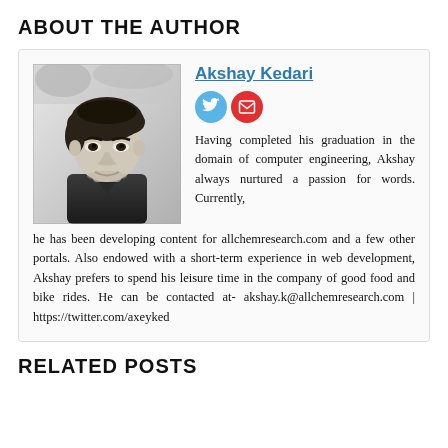ABOUT THE AUTHOR
Akshay Kedari
[Figure (photo): Black and white portrait photo of Akshay Kedari, a young man with dark hair]
Having completed his graduation in the domain of computer engineering, Akshay always nurtured a passion for words. Currently, he has been developing content for allchemresearch.com and a few other portals. Also endowed with a short-term experience in web development, Akshay prefers to spend his leisure time in the company of good food and bike rides. He can be contacted at- akshay.k@allchemresearch.com | https://twitter.com/axeyked
RELATED POSTS